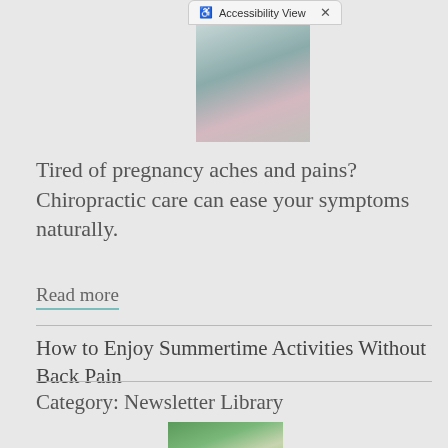[Figure (screenshot): Accessibility View browser toolbar button with X close button]
[Figure (photo): Pregnant woman in black sports bra being examined by a practitioner]
Tired of pregnancy aches and pains? Chiropractic care can ease your symptoms naturally.
Read more
How to Enjoy Summertime Activities Without Back Pain
Category: Newsletter Library
[Figure (photo): Person stretching or doing activity outdoors with green trees in background]